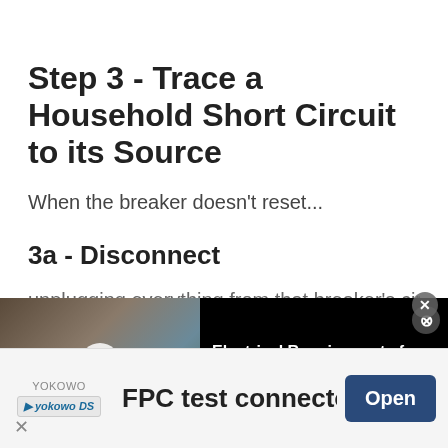Step 3 - Trace a Household Short Circuit to its Source
When the breaker doesn't reset...
3a - Disconnect
unplugging everything from that breaker's circuit
[Figure (screenshot): Video thumbnail showing people outdoors with play button overlay, titled 'Electrical Requirements for Hot Tub Installation']
[Figure (screenshot): Advertisement banner for YOKOWO FPC test connector with Open button]